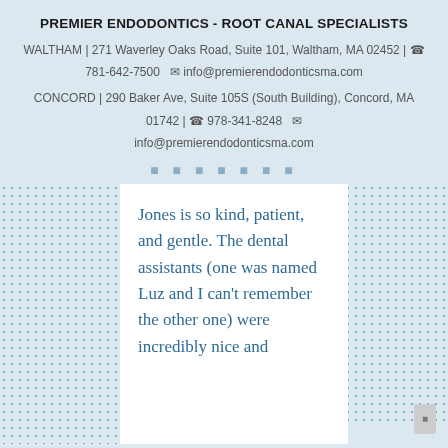PREMIER ENDODONTICS - ROOT CANAL SPECIALISTS
WALTHAM | 271 Waverley Oaks Road, Suite 101, Waltham, MA 02452 | ☎ 781-642-7500  ✉ info@premierendodonticsma.com
CONCORD | 290 Baker Ave, Suite 105S (South Building), Concord, MA 01742 | ☎ 978-341-8248  ✉ info@premierendodonticsma.com
★ ★ ★ ★ ★ ★ ★
Jones is so kind, patient, and gentle. The dental assistants (one was named Luz and I can't remember the other one) were incredibly nice and